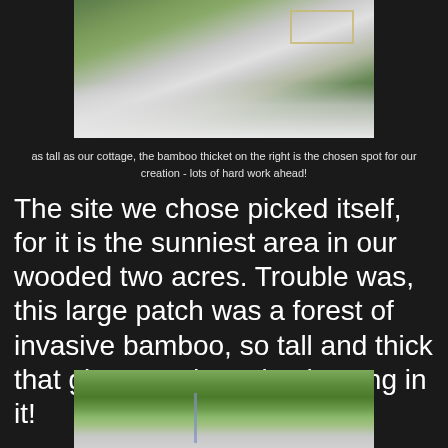[Figure (photo): Snowy garden scene with bamboo thicket, snow-covered plants and ground, and what appears to be a white fence or structure in the background]
as tall as our cottage, the bamboo thicket on the right is the chosen spot for our creation - lots of hard work ahead!
The site we chose picked itself, for it is the sunniest area in our wooded two acres. Trouble was, this large patch was a forest of invasive bamboo, so tall and thick that giant pandas raised young in it!
[Figure (photo): Dense bamboo and tree foliage with a pole or post visible, taken before clearing]